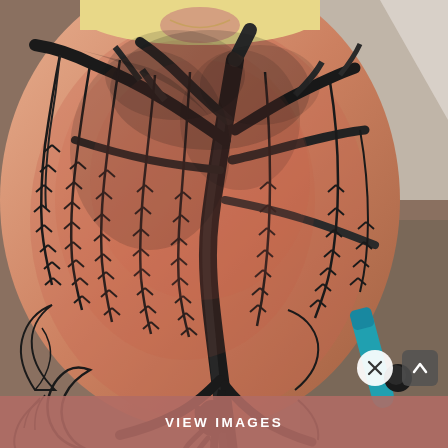[Figure (photo): A photograph of a person's back and shoulder area showing an in-progress tattoo of a large weeping willow tree with drooping branches and detailed leaf work in black and grey ink, with a silhouette of a sitting figure (person or fairy) beneath the tree, and outline sketches of fairy wings and a crescent moon on the lower left. The skin is reddened from tattooing. In the background, a teal/blue tattoo machine and other studio equipment are visible.]
VIEW IMAGES